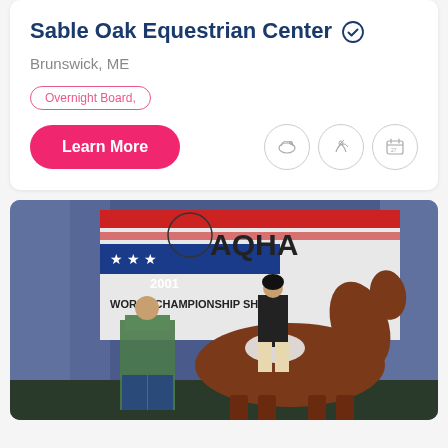Sable Oak Equestrian Center ✓
Brunswick, ME
Overnight Board,
Learn More
[Figure (photo): Photo of a rider on a bay horse at the AQHA 2001 World Championship Show, with a person in a plaid shirt standing beside the horse in front of a banner.]